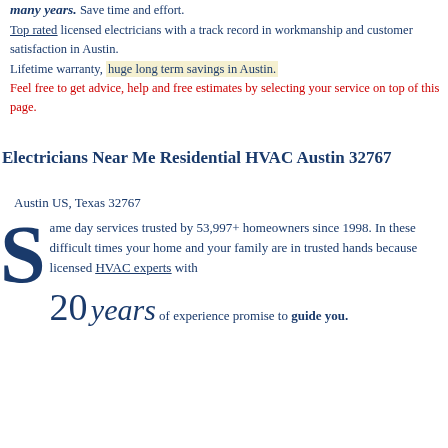many years. Save time and effort. Top rated licensed electricians with a track record in workmanship and customer satisfaction in Austin. Lifetime warranty, huge long term savings in Austin. Feel free to get advice, help and free estimates by selecting your service on top of this page.
Electricians Near Me Residential HVAC Austin 32767
Austin US, Texas 32767
Same day services trusted by 53,997+ homeowners since 1998. In these difficult times your home and your family are in trusted hands because licensed HVAC experts with 20 years of experience promise to guide you.